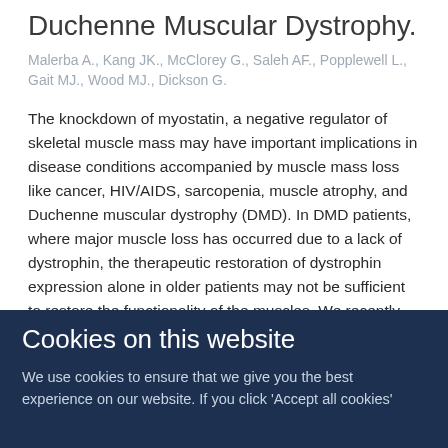Duchenne Muscular Dystrophy.
Malerba A., Kang JK., McClorey G., Saleh AF., Popplewell L., Gait MJ., Wood MJ., Dickson G.
The knockdown of myostatin, a negative regulator of skeletal muscle mass may have important implications in disease conditions accompanied by muscle mass loss like cancer, HIV/AIDS, sarcopenia, muscle atrophy, and Duchenne muscular dystrophy (DMD). In DMD patients, where major muscle loss has occurred due to a lack of dystrophin, the therapeutic restoration of dystrophin expression alone in older patients may not be sufficient to restore the functionality of the muscles. We recently demonstrated that phosphorodiamidate morpholino oligomers (PMOs) can be used to re-direct
Cookies on this website
We use cookies to ensure that we give you the best experience on our website. If you click 'Accept all cookies'